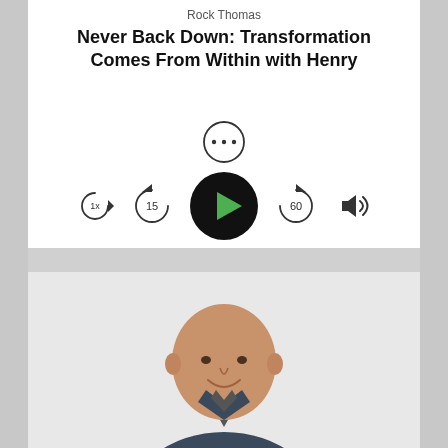Rock Thomas
Never Back Down: Transformation Comes From Within with Henry
[Figure (screenshot): Podcast player UI with more-options button, play button, skip back 15s, skip forward 60s, speed 1x, and volume controls]
[Figure (photo): Bald man in a dark suit jacket smiling, photographed from the waist up against a light background]